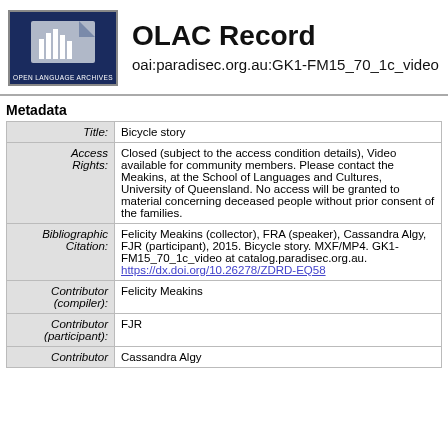[Figure (logo): Open Language Archives logo — dark blue background with white vertical bars of varying heights and text 'OPEN LANGUAGE ARCHIVES' below]
OLAC Record
oai:paradisec.org.au:GK1-FM15_70_1c_video
Metadata
| Field | Value |
| --- | --- |
| Title: | Bicycle story |
| Access Rights: | Closed (subject to the access condition details), Video available for community members. Please contact the Meakins, at the School of Languages and Cultures, University of Queensland. No access will be granted to material concerning deceased people without prior consent of the families. |
| Bibliographic Citation: | Felicity Meakins (collector), FRA (speaker), Cassandra Algy, FJR (participant), 2015. Bicycle story. MXF/MP4. GK1-FM15_70_1c_video at catalog.paradisec.org.au. https://dx.doi.org/10.26278/ZDRD-EQ58 |
| Contributor (compiler): | Felicity Meakins |
| Contributor (participant): | FJR |
| Contributor | Cassandra Algy |